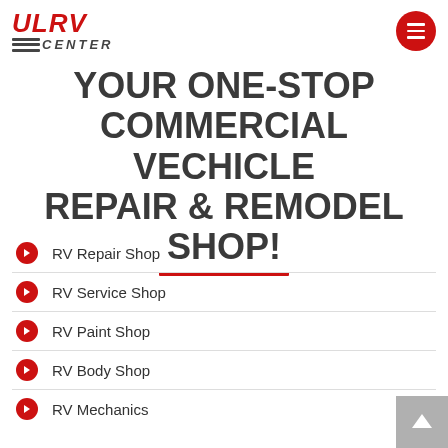[Figure (logo): ULRV Center logo with red stylized letters and horizontal lines with CENTER text]
YOUR ONE-STOP COMMERCIAL VECHICLE REPAIR & REMODEL SHOP!
RV Repair Shop
RV Service Shop
RV Paint Shop
RV Body Shop
RV Mechanics